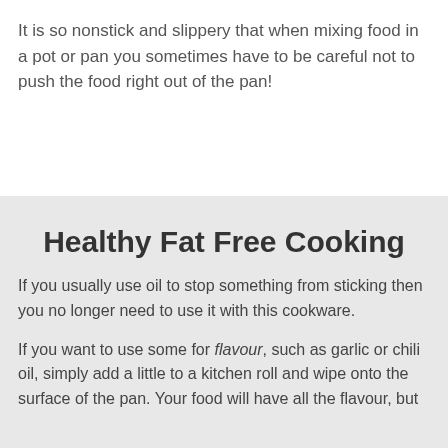It is so nonstick and slippery that when mixing food in a pot or pan you sometimes have to be careful not to push the food right out of the pan!
Healthy Fat Free Cooking
If you usually use oil to stop something from sticking then you no longer need to use it with this cookware.
If you want to use some for flavour, such as garlic or chili oil, simply add a little to a kitchen roll and wipe onto the surface of the pan. Your food will have all the flavour, but